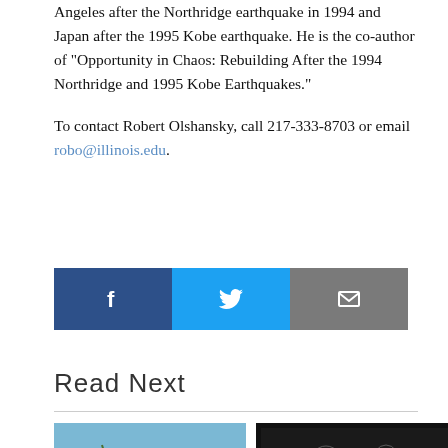Angeles after the Northridge earthquake in 1994 and Japan after the 1995 Kobe earthquake. He is the co-author of “Opportunity in Chaos: Rebuilding After the 1994 Northridge and 1995 Kobe Earthquakes.”
To contact Robert Olshansky, call 217-333-8703 or email robo@illinois.edu.
[Figure (other): Social sharing buttons: Facebook (dark blue), Twitter (light blue), Email (gray)]
Read Next
[Figure (photo): Photo of rocky cliff with desert vegetation (yucca plants) against a blue sky]
[Figure (photo): Black and white engraving or illustration showing figures in a historical scene]